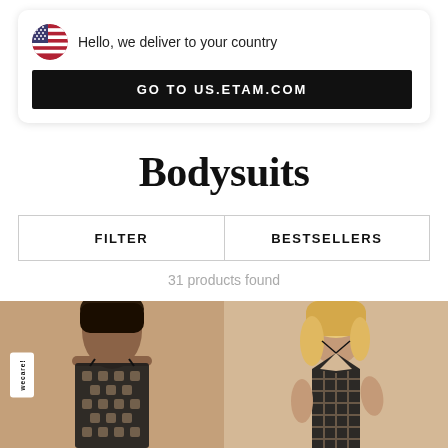Hello, we deliver to your country
GO TO US.ETAM.COM
Bodysuits
FILTER
BESTSELLERS
31 products found
[Figure (photo): Two fashion product photos side by side showing women wearing black lace bodysuits. Left: dark-haired woman in lace camisole bodysuit with geometric pattern on beige background, with a 'wecare!' badge. Right: blonde woman in deep V-neck lace bodysuit on beige background.]